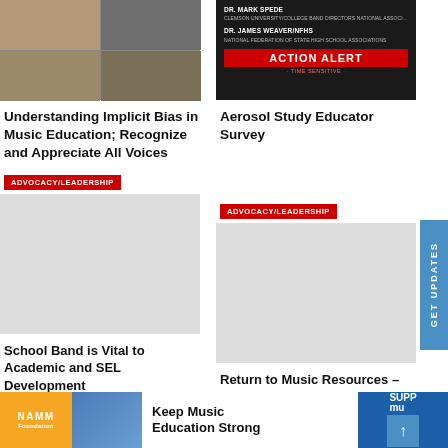[Figure (photo): Collage of historical black and white portrait photos]
[Figure (photo): Dark background with text: DR. MARK SPEDE - Clemson University/College Band Directors National Association, DR. JAMES WEAVER/NFHS - National Federation of State High School Associations, ACTION ALERT - TIME SENSITIVE]
Understanding Implicit Bias in Music Education; Recognize and Appreciate All Voices
Aerosol Study Educator Survey
ADVOCACY/LEADERSHIP
[Figure (photo): Gray placeholder image for School Band article]
ADVOCACY/LEADERSHIP
[Figure (photo): Gray placeholder image for Return to Music article]
School Band is Vital to Academic and SEL Development
Return to Music Resources – Helping Teachers, Administrators
[Figure (photo): NAMM Foundation banner - Keep Music Education Strong with child playing flute]